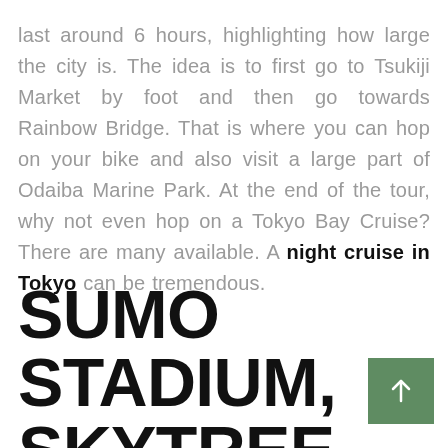last around 6 hours, highlighting how large the city is. The idea is to first go to Tsukiji Market by foot and then go towards Rainbow Bridge. That is where you can hop on your bike and also visit a large part of Odaiba Marine Park. At the end of the tour, why not even hop on a Tokyo Bay Cruise? There are many available. A night cruise in Tokyo can be tremendous.
SUMO STADIUM, SKYTREE AND KIYOSUMI GARDEN BICYCLE